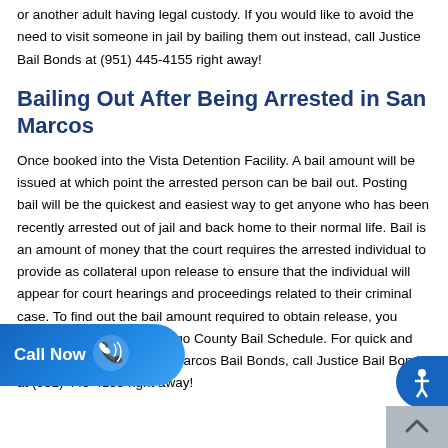or another adult having legal custody. If you would like to avoid the need to visit someone in jail by bailing them out instead, call Justice Bail Bonds at (951) 445-4155 right away!
Bailing Out After Being Arrested in San Marcos
Once booked into the Vista Detention Facility. A bail amount will be issued at which point the arrested person can be bail out. Posting bail will be the quickest and easiest way to get anyone who has been recently arrested out of jail and back home to their normal life. Bail is an amount of money that the court requires the arrested individual to provide as collateral upon release to ensure that the individual will appear for court hearings and proceedings related to their criminal case. To find out the bail amount required to obtain release, you need to check the San Diego County Bail Schedule. For quick and easy assistance with San Marcos Bail Bonds, call Justice Bail Bonds at (951) 445-4155 right away!